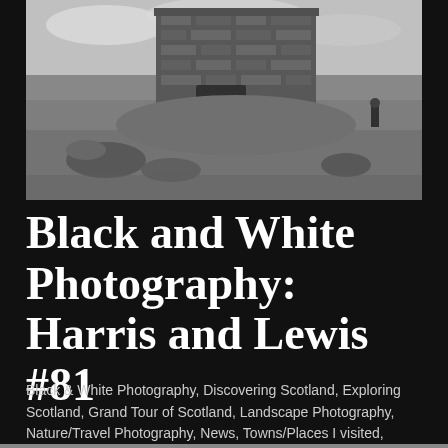[Figure (photo): Black and white photograph of an ancient stone broch or tower structure on a grassy hillside with rocky terrain in the foreground and a cloudy sky. A person stands near the entrance of the structure on the right side.]
Black and White Photography: Harris and Lewis #81
Black & White Photography, Discovering Scotland, Exploring Scotland, Grand Tour of Scotland, Landscape Photography, Nature/Travel Photography, News, Towns/Places I visited, Travel Photography